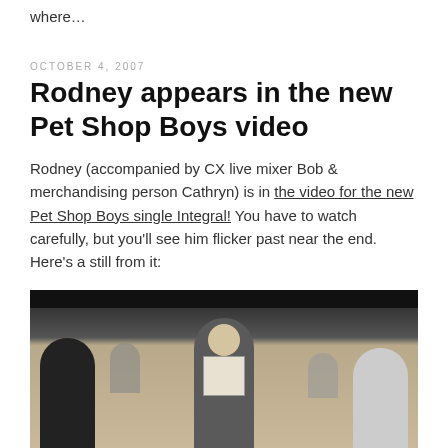where...
OCTOBER 4, 2007
Rodney appears in the new Pet Shop Boys video
Rodney (accompanied by CX live mixer Bob & merchandising person Cathryn) is in the video for the new Pet Shop Boys single Integral! You have to watch carefully, but you'll see him flicker past near the end. Here's a still from it:
[Figure (photo): A still from the Pet Shop Boys Integral video showing a person in the center holding up a piece of paper/card with a face on it, with crowd of people blurred in the background, black bar at top of frame]